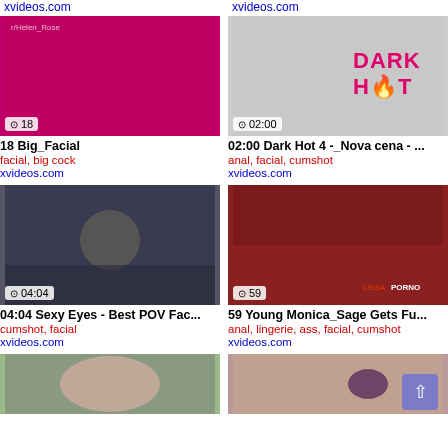xvideos.com
xvideos.com
[Figure (photo): Video thumbnail 1 - adult content, red background]
[Figure (photo): Video thumbnail 2 - DARK HOT branding, grayscale]
18 Big_Facial
02:00 Dark Hot 4 -_Nova cena - ...
facial, big cock
anal, facial, cumshot
xvideos.com
xvideos.com
[Figure (photo): Video thumbnail 3 - adult content, dark background]
[Figure (photo): Video thumbnail 4 - adult content, red couch]
04:04 Sexy Eyes - Best POV Fac...
59 Young Monica_Sage Gets Fu...
cumshot, facial
anal, lingerie, ass, facial, cumshot
xvideos.com
xvideos.com
[Figure (photo): Video thumbnail 5 - partial face, close-up]
[Figure (photo): Video thumbnail 6 - body tattoo visible]